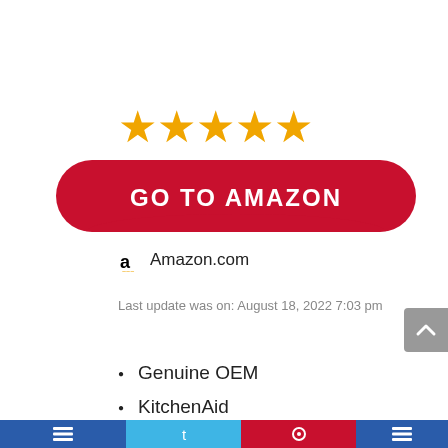[Figure (other): Five orange star rating icons]
[Figure (other): Red rounded button with white text GO TO AMAZON]
Amazon.com
Last update was on: August 18, 2022 7:03 pm
Genuine OEM
KitchenAid
WP115422 and W11174127
[Figure (other): Bottom navigation bar with colored sections and icons]